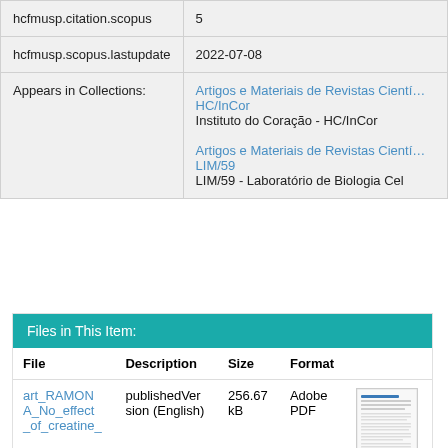| Field | Value |
| --- | --- |
| hcfmusp.citation.scopus | 5 |
| hcfmusp.scopus.lastupdate | 2022-07-08 |
| Appears in Collections: | Artigos e Materiais de Revistas Científicas - HC/InCor
Instituto do Coração - HC/InCor
Artigos e Materiais de Revistas Científicas - LIM/59
LIM/59 - Laboratório de Biologia Cel |
Files in This Item:
| File | Description | Size | Format |  |
| --- | --- | --- | --- | --- |
| art_RAMONA_No_effect_of_creatine_ | publishedVersion (English) | 256.67 kB | Adobe PDF | [thumbnail] |